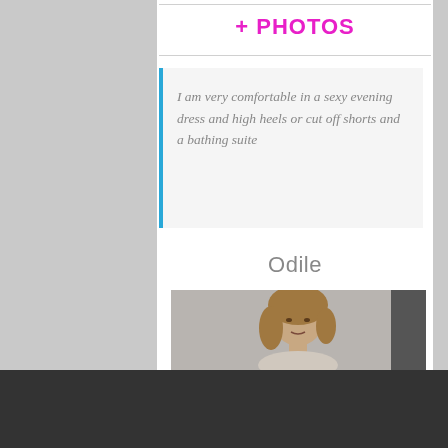+ PHOTOS
I am very comfortable in a sexy evening dress and high heels or cut off shorts and a bathing suite
Odile
[Figure (photo): Portrait photo of a young woman with long blonde hair against a gray background]
Girls with video  Show me!